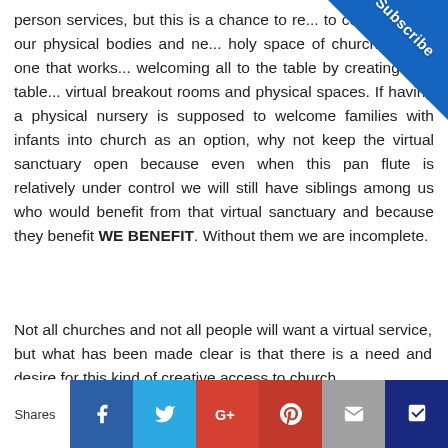person services, but this is a chance to re... to consider how our physical bodies and ne... holy space of church can be one that works... welcoming all to the table by creating new table... virtual breakout rooms and physical spaces. If having a physical nursery is supposed to welcome families with infants into church as an option, why not keep the virtual sanctuary open because even when this pan flute is relatively under control we will still have siblings among us who would benefit from that virtual sanctuary and because they benefit WE BENEFIT. Without them we are incomplete.
Not all churches and not all people will want a virtual service, but what has been made clear is that there is a need and desire for this kind of creative access to church